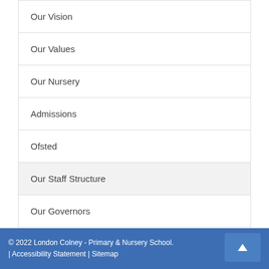Our Vision
Our Values
Our Nursery
Admissions
Ofsted
Our Staff Structure
Our Governors
Policies
© 2022 London Colney - Primary & Nursery School. | Accessibility Statement | Sitemap